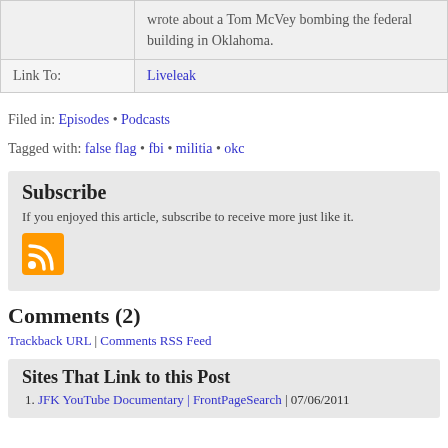|  | wrote about a Tom McVey bombing the federal building in Oklahoma. |
| Link To: | Liveleak |
Filed in: Episodes • Podcasts
Tagged with: false flag • fbi • militia • okc
Subscribe
If you enjoyed this article, subscribe to receive more just like it.
[Figure (other): RSS feed icon - orange square with white RSS symbol]
Comments (2)
Trackback URL | Comments RSS Feed
Sites That Link to this Post
JFK YouTube Documentary | FrontPageSearch | 07/06/2011